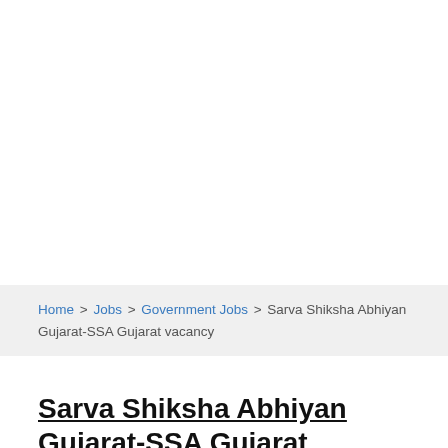Home > Jobs > Government Jobs > Sarva Shiksha Abhiyan Gujarat-SSA Gujarat vacancy
Sarva Shiksha Abhiyan Gujarat-SSA Gujarat vacancy